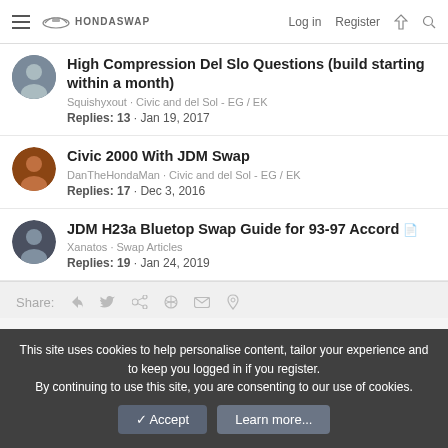HondaSwap — Log in | Register
High Compression Del Slo Questions (build starting within a month) · Squishyxout · Civic and del Sol - EG / EK · Replies: 13 · Jan 19, 2017
Civic 2000 With JDM Swap · DanTheHondaMan · Civic and del Sol - EG / EK · Replies: 17 · Dec 3, 2016
JDM H23a Bluetop Swap Guide for 93-97 Accord · Xanatos · Swap Articles · Replies: 19 · Jan 24, 2019
Share:
This site uses cookies to help personalise content, tailor your experience and to keep you logged in if you register. By continuing to use this site, you are consenting to our use of cookies.